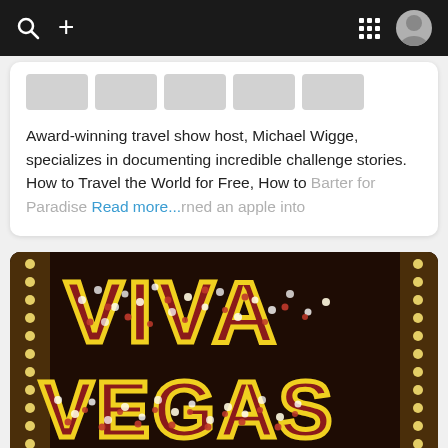Search + nav bar with grid and user avatar
Award-winning travel show host, Michael Wigge, specializes in documenting incredible challenge stories. How to Travel the World for Free, How to Barter for Paradise Read more...rned an apple into
[Figure (photo): Viva Las Vegas neon sign with large yellow outlined letters filled with red and white light bulbs against a dark background]